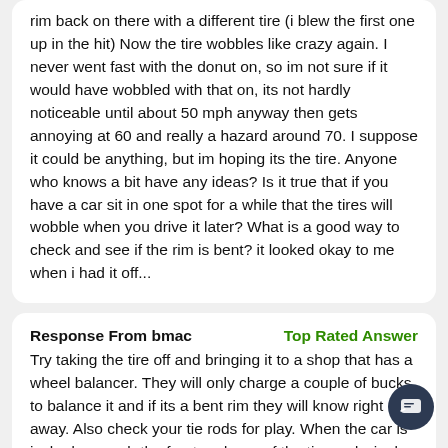rim back on there with a different tire (i blew the first one up in the hit) Now the tire wobbles like crazy again. I never went fast with the donut on, so im not sure if it would have wobbled with that on, its not hardly noticeable until about 50 mph anyway then gets annoying at 60 and really a hazard around 70. I suppose it could be anything, but im hoping its the tire. Anyone who knows a bit have any ideas? Is it true that if you have a car sit in one spot for a while that the tires will wobble when you drive it later? What is a good way to check and see if the rim is bent? it looked okay to me when i had it off...
Response From bmac
Top Rated Answer
Try taking the tire off and bringing it to a shop that has a wheel balancer. They will only charge a couple of bucks to balance it and if its a bent rim they will know right away. Also check your tie rods for play. When the car is jacked up, grab the front and rear of the tire and wiggle it back and forth to check for play. Also grab the top and bottom of the tire and check for play that way. There